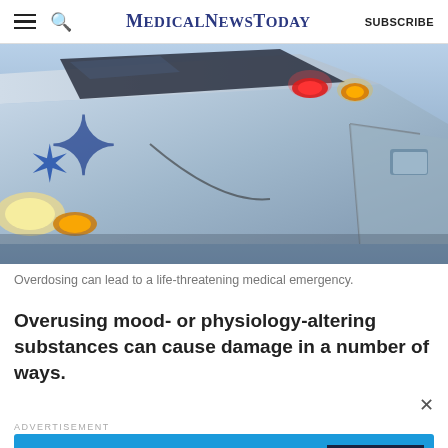MedicalNewsToday | SUBSCRIBE
[Figure (photo): Close-up photo of the rear/side of an ambulance with flashing red and amber lights, showing the star of life emblem, against a blue sky background.]
Overdosing can lead to a life-threatening medical emergency.
Overusing mood- or physiology-altering substances can cause damage in a number of ways.
ADVERTISEMENT
[Figure (infographic): MNT newsletter advertisement banner: 'Get the MNT newsletter — Subscribe to receive our top news articles' with a SUBSCRIBE button.]